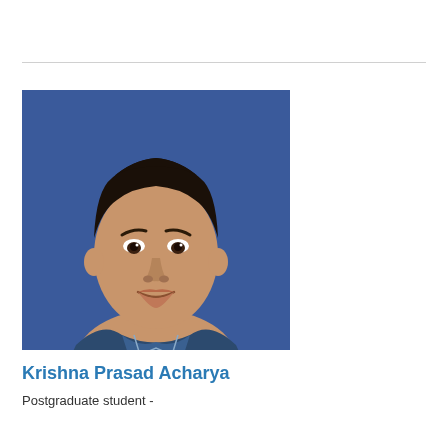[Figure (photo): Headshot photo of a young man with dark hair, wearing a dark blue/grey collared shirt, against a blue background.]
Krishna Prasad Acharya
Postgraduate student -